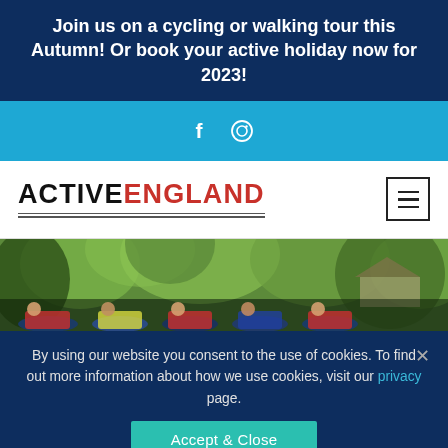Join us on a cycling or walking tour this Autumn! Or book your active holiday now for 2023!
[Figure (logo): Social media icons: Facebook (f) and Instagram circle icon on blue bar]
[Figure (logo): Active England logo with hamburger menu button]
[Figure (photo): Outdoor photo of cyclists sitting on a bench surrounded by green trees and a house in background]
By using our website you consent to the use of cookies. To find out more information about how we use cookies, visit our privacy page.
Accept & Close